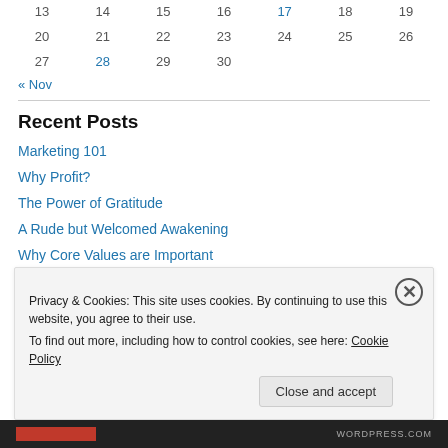| 13 | 14 | 15 | 16 | 17 | 18 | 19 |
| 20 | 21 | 22 | 23 | 24 | 25 | 26 |
| 27 | 28 | 29 | 30 |  |  |  |
« Nov
Recent Posts
Marketing 101
Why Profit?
The Power of Gratitude
A Rude but Welcomed Awakening
Why Core Values are Important
Privacy & Cookies: This site uses cookies. By continuing to use this website, you agree to their use. To find out more, including how to control cookies, see here: Cookie Policy
Close and accept